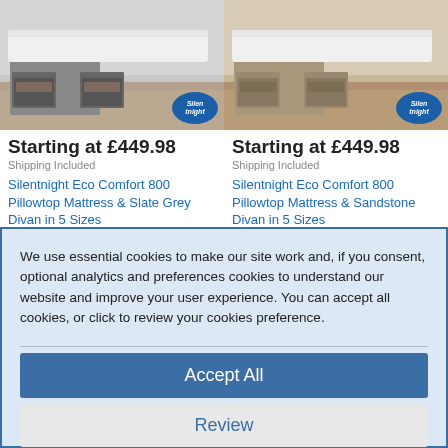[Figure (photo): Silentnight Eco Comfort 800 divan bed with open drawers in slate grey]
[Figure (photo): Silentnight Eco Comfort 800 divan bed with open drawers in sandstone]
Starting at £449.98
Shipping Included
Silentnight Eco Comfort 800 Pillowtop Mattress & Slate Grey Divan in 5 Sizes
Starting at £449.98
Shipping Included
Silentnight Eco Comfort 800 Pillowtop Mattress & Sandstone Divan in 5 Sizes
We use essential cookies to make our site work and, if you consent, optional analytics and preferences cookies to understand our website and improve your user experience. You can accept all cookies, or click to review your cookies preference.
Accept All
Review